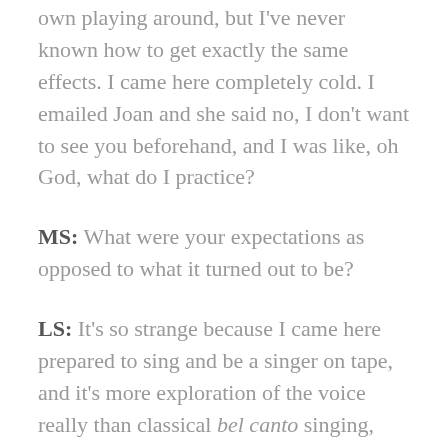own playing around, but I've never known how to get exactly the same effects. I came here completely cold. I emailed Joan and she said no, I don't want to see you beforehand, and I was like, oh God, what do I practice?
MS: What were your expectations as opposed to what it turned out to be?
LS: It's so strange because I came here prepared to sing and be a singer on tape, and it's more exploration of the voice really than classical bel canto singing, which is what I've studied for years and years. It's really nice to realize that you can go beyond that. I used different parts of my voice than I